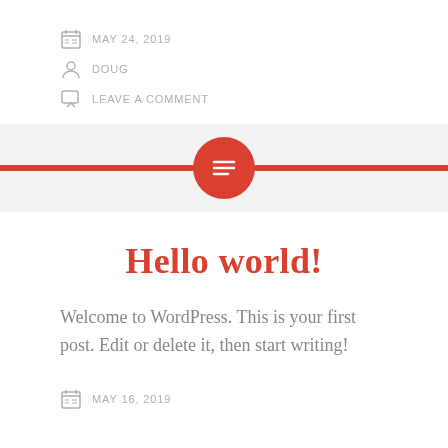MAY 24, 2019
DOUG
LEAVE A COMMENT
[Figure (other): Red horizontal divider bar with a centered red circle containing a white text/list icon, on a light gray background]
Hello world!
Welcome to WordPress. This is your first post. Edit or delete it, then start writing!
MAY 16, 2019